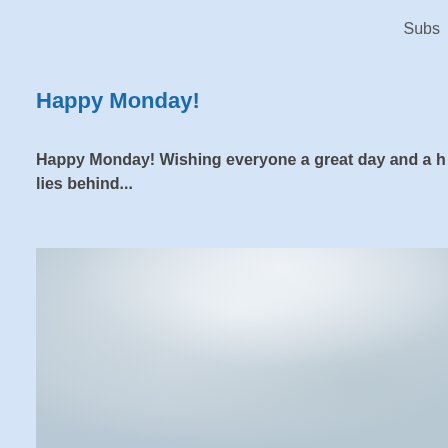Subs
Happy Monday!
Happy Monday! Wishing everyone a great day and a h lies behind...
[Figure (photo): A blurred outdoor photo with light grey and muted blue-green tones, suggesting a sky or misty landscape scene.]